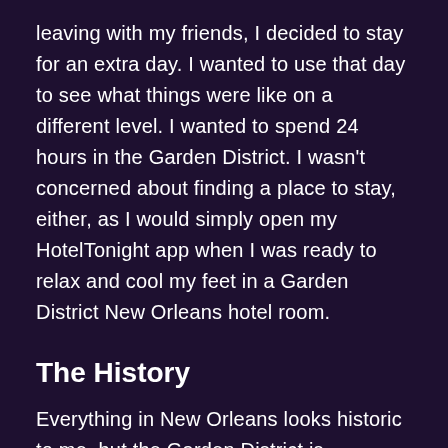leaving with my friends, I decided to stay for an extra day. I wanted to use that day to see what things were like on a different level. I wanted to spend 24 hours in the Garden District. I wasn't concerned about finding a place to stay, either, as I would simply open my HotelTonight app when I was ready to relax and cool my feet in a Garden District New Orleans hotel room.
The History
Everything in New Orleans looks historic to me, but the Garden District is especially historic. The first buildings in the neighborhood were built just after the turn of the 19th century. That's correct--more than 200 years ago. This history is still on display today, as you can walk around and look at majestic